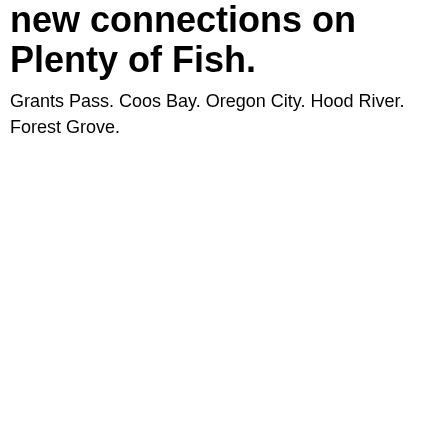new connections on Plenty of Fish.
Grants Pass. Coos Bay. Oregon City. Hood River. Forest Grove.